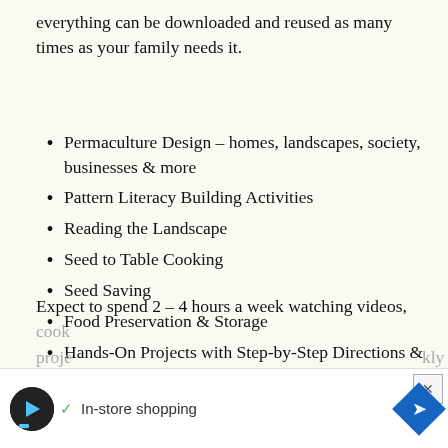everything can be downloaded and reused as many times as your family needs it.
Permaculture Design – homes, landscapes, society, businesses & more
Pattern Literacy Building Activities
Reading the Landscape
Seed to Table Cooking
Seed Saving
Food Preservation & Storage
Hands-On Projects with Step-by-Step Directions & Video
Expect to spend 2 – 4 hours a week watching videos,
cook... proje... kly